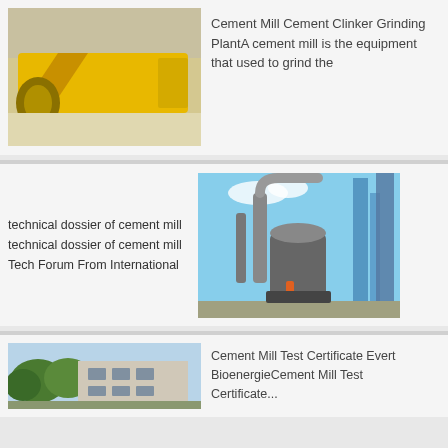[Figure (photo): Yellow industrial conveyor or feeder machine on factory floor]
Cement Mill Cement Clinker Grinding PlantA cement mill is the equipment that used to grind the
technical dossier of cement mill technical dossier of cement mill Tech Forum From International
[Figure (photo): Industrial cement grinding mill plant with pipes and scaffolding against blue sky]
[Figure (photo): Building surrounded by green trees, industrial facility]
Cement Mill Test Certificate Evert BioenergieCement Mill Test Certificate...